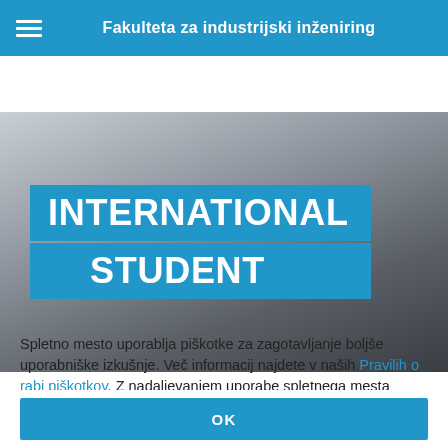Fakulteta za industrijski inženiring
[Figure (screenshot): Hero banner image with dark grey gradient background and blue banner overlay text reading INTERNATIONAL STUDENT in large white bold uppercase letters]
Spletno mesto uporablja piškotke za zagotavljanje boljše uporabniške izkušnje. Več informacij najdete v naših Pravilih o rabi piškotkov. Z nadaljevanjem uporabe spletnega mesta soglašate z uporabo piškotkov.
OK